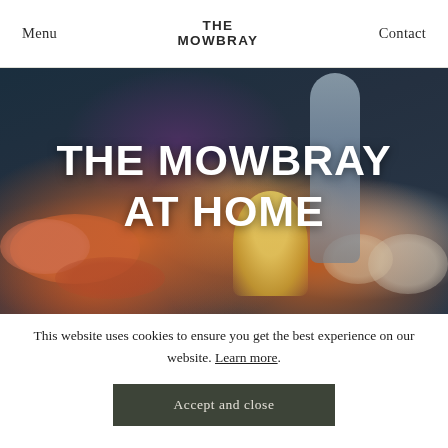Menu | THE MOWBRAY | Contact
[Figure (photo): Hero image of The Mowbray At Home — a spread of food dishes, cocktail glasses (coupe and tall glass) on a dark teal background with large white bold text overlay reading 'THE MOWBRAY AT HOME']
This website uses cookies to ensure you get the best experience on our website. Learn more.
Accept and close